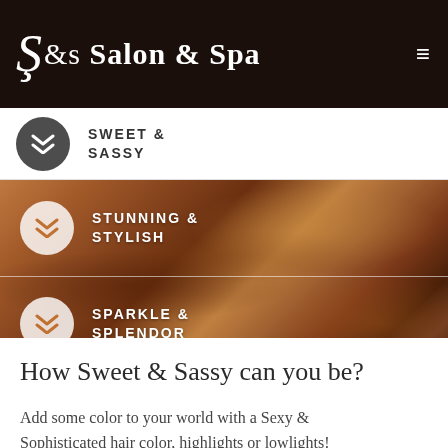S&s Salon & Spa
SWEET & SASSY
[Figure (photo): Close-up photo of curly auburn/brown hair with warm tones, used as background for navigation items]
STUNNING & STYLISH
SPARKLE & SPLENDOR
How Sweet & Sassy can you be?
Add some color to your world with a Sexy & Sophisticated hair color, highlights or lowlights!